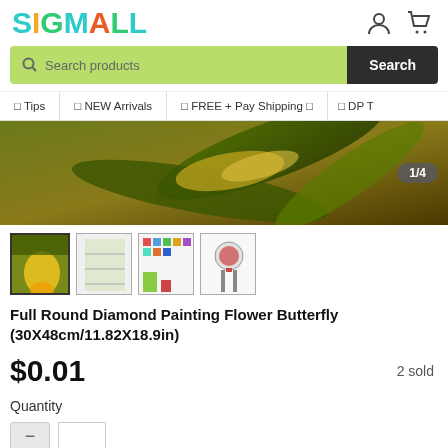[Figure (logo): SIGMALL colorful logo with decorative lettering in teal, orange, green, and red colors]
Search products
⬜ Tips
⬜ NEW Arrivals
⬜ FREE + Pay Shipping ⬜
⬜ DP T
[Figure (photo): Product main image showing flower with olive/gold tones, image counter 1/4 shown]
[Figure (photo): Four product thumbnail images showing diamond painting kit contents]
Full Round Diamond Painting Flower Butterfly (30X48cm/11.82X18.9in)
$0.01
2 sold
Quantity